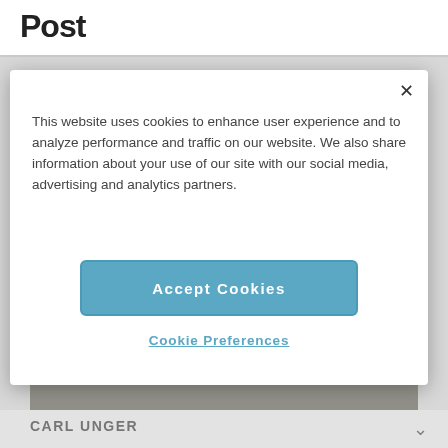Post
This website uses cookies to enhance user experience and to analyze performance and traffic on our website. We also share information about your use of our site with our social media, advertising and analytics partners.
Accept Cookies
Cookie Preferences
[Figure (photo): Interior office or workspace photo showing a long desk or counter surface, with a person standing in the background near shelving or filing units]
CARL UNGER